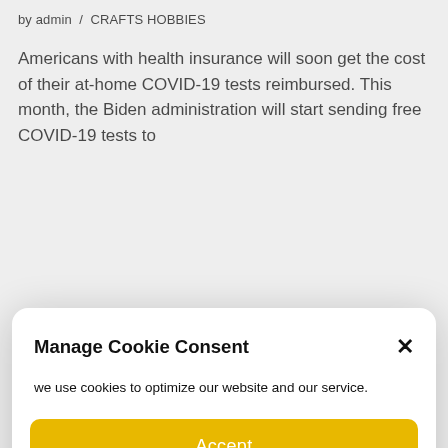by admin  /  CRAFTS HOBBIES
Americans with health insurance will soon get the cost of their at-home COVID-19 tests reimbursed. This month, the Biden administration will start sending free COVID-19 tests to...
Manage Cookie Consent
we use cookies to optimize our website and our service.
Accept
Cookie Policy
Ironically, it was none other than John McDonnell, Labour's shadow chancellor under Jeremy Corbyn, who was responsible for his newfound activism. Until three years ago, the tycoon was focused on his philanthropic